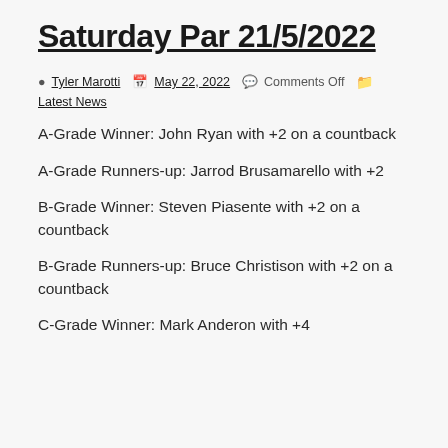Saturday Par 21/5/2022
Tyler Marotti   May 22, 2022   Comments Off   Latest News
A-Grade Winner: John Ryan with +2 on a countback
A-Grade Runners-up: Jarrod Brusamarello with +2
B-Grade Winner: Steven Piasente with +2 on a countback
B-Grade Runners-up: Bruce Christison with +2 on a countback
C-Grade Winner: Mark Anderon with +4